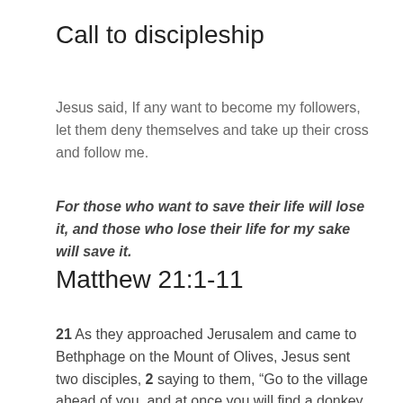Call to discipleship
Jesus said, If any want to become my followers, let them deny themselves and take up their cross and follow me.
For those who want to save their life will lose it, and those who lose their life for my sake will save it.
Matthew 21:1-11
21 As they approached Jerusalem and came to Bethphage on the Mount of Olives, Jesus sent two disciples, 2 saying to them, “Go to the village ahead of you, and at once you will find a donkey tied there, with her colt by her. Untie them and bring them to me. 3 If